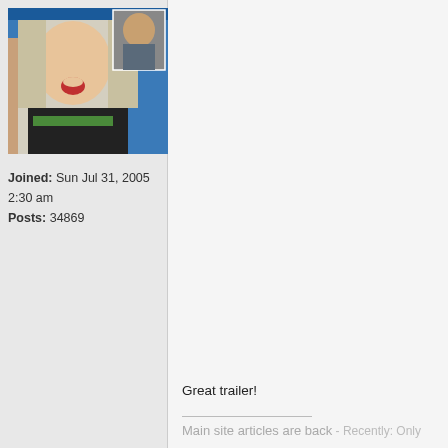[Figure (photo): User avatar photo showing a blonde woman at a WWE/wrestling event, with a smaller inset photo of a man in the upper right corner]
Joined: Sun Jul 31, 2005 2:30 am
Posts: 34869
Great trailer!
Main site articles are back - Recently: Only